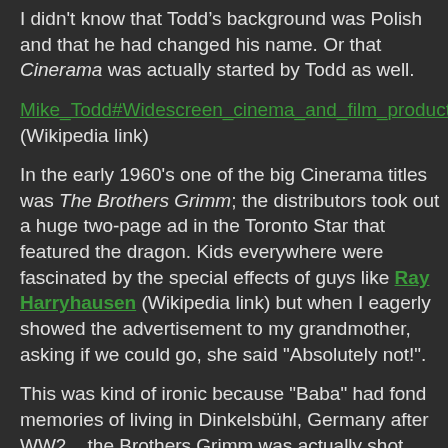I didn't know that Todd's background was Polish and that he had changed his name. Or that Cinerama was actually started by Todd as well.
Mike_Todd#Widescreen_cinema_and_film_productions (Wikipedia link)
In the early 1960's one of the big Cinerama titles was The Brothers Grimm; the distributors took out a huge two-page ad in the Toronto Star that featured the dragon. Kids everywhere were fascinated by the special effects of guys like Ray Harryhausen (Wikipedia link) but when I eagerly showed the advertisement to my grandmother, asking if we could go, she said "Absolutely not!".
This was kind of ironic because "Baba" had fond memories of living in Dinkelsbühl, Germany after WW2... the Brothers Grimm was actually shot there and for various reasons (like the general demise of the Cinerama format???) it became difficult or perhaps even impossible to see in subsequent years, and remains a